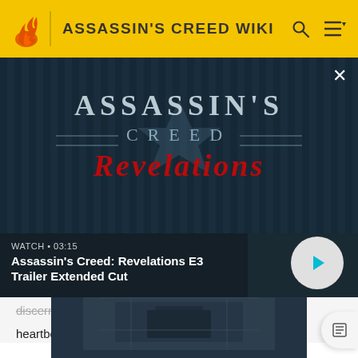ASSASSIN'S CREED WIKI
[Figure (screenshot): Assassin's Creed Revelations video thumbnail showing the game title logo on a dark teal background with vertical stripe effects. Text reads: ASSASSIN'S CREED REVELATIONS]
WATCH • 03:15
Assassin's Creed: Revelations E3 Trailer Extended Cut
discern disguised enemies, the scent of altaïr, and the heartbeat of an individual.
[Figure (screenshot): Bottom partial screenshot showing a dark aerial/top-down view of what appears to be a stone building or fortress interior in Assassin's Creed style]